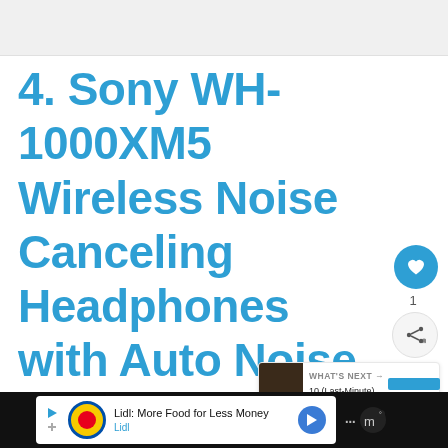[Figure (screenshot): Gray top bar from a web browser or app]
4. Sony WH-1000XM5 Wireless Noise Canceling Headphones with Auto Noise Canceling Optimizer
[Figure (infographic): Heart/like button (blue circle with heart icon) showing count of 1, and a share button below it]
[Figure (infographic): What's Next panel showing avatar and text: WHAT'S NEXT → 10 (Last-Minute) Father's Day G...]
[Figure (infographic): Advertisement bar at bottom: Lidl: More Food for Less Money - Lidl]